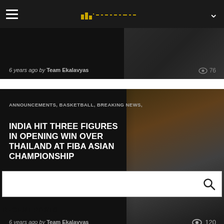Navigation bar with hamburger menu, Ekalavyas logo, and chevron icon
6 years ago by Team Ekalavyas   76
INDIA HIT THREE FIGURES IN OPENING WIN OVER THAILAND AT FIBA ASIAN CHAMPIONSHIP
ANNOUNCEMENTS, BASKETBALL, BREAKING NEWS,
6 years ago by Team Ekalavyas   120
Search box
RECENT POSTS